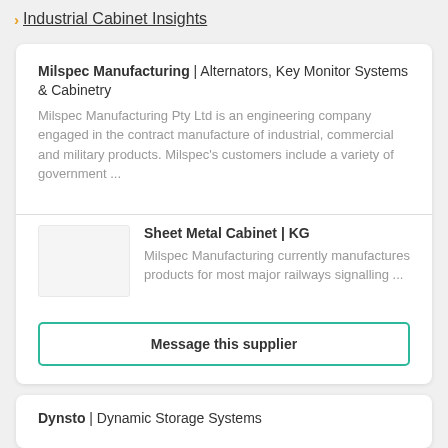› Industrial Cabinet Insights
Milspec Manufacturing | Alternators, Key Monitor Systems & Cabinetry
Milspec Manufacturing Pty Ltd is an engineering company engaged in the contract manufacture of industrial, commercial and military products. Milspec's customers include a variety of government ...
Sheet Metal Cabinet | KG
Milspec Manufacturing currently manufactures products for most major railways signalling ...
Message this supplier
Dynsto | Dynamic Storage Systems